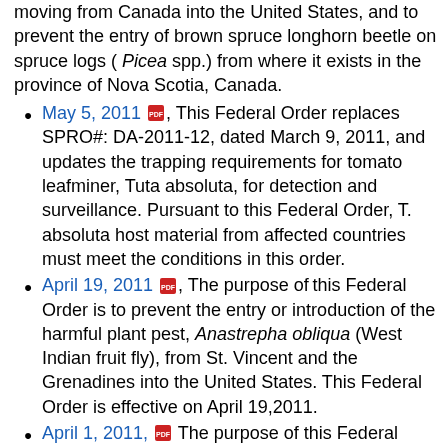moving from Canada into the United States, and to prevent the entry of brown spruce longhorn beetle on spruce logs ( Picea spp.) from where it exists in the province of Nova Scotia, Canada.
May 5, 2011 [PDF], This Federal Order replaces SPRO#: DA-2011-12, dated March 9, 2011, and updates the trapping requirements for tomato leafminer, Tuta absoluta, for detection and surveillance. Pursuant to this Federal Order, T. absoluta host material from affected countries must meet the conditions in this order.
April 19, 2011 [PDF], The purpose of this Federal Order is to prevent the entry or introduction of the harmful plant pest, Anastrepha obliqua (West Indian fruit fly), from St. Vincent and the Grenadines into the United States. This Federal Order is effective on April 19,2011.
April 1, 2011, [PDF] The purpose of this Federal Order (FO) revises and replaces the FO for two harmful plant pests, Citrus Longhorned Beetle (CLB), Anoplophora chinensis (Forster) (Coleoptera: Cerambycidae), and Asian Longhorned Beetle (ALB), A. glabripennis (Motschulsky) (Coleoptera: Cerambycidae), previously issued on January 16, 2009.
March 9, 2011 [PDF] The purpose of this Federal Or...